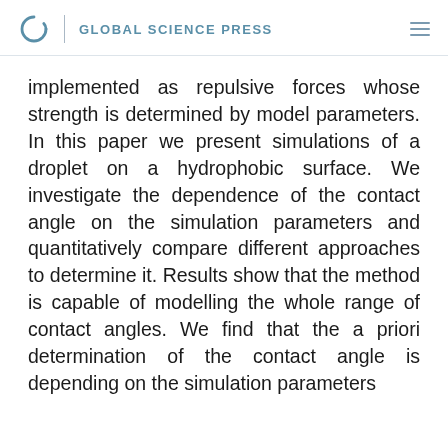GLOBAL SCIENCE PRESS
implemented as repulsive forces whose strength is determined by model parameters. In this paper we present simulations of a droplet on a hydrophobic surface. We investigate the dependence of the contact angle on the simulation parameters and quantitatively compare different approaches to determine it. Results show that the method is capable of modelling the whole range of contact angles. We find that the a priori determination of the contact angle is depending on the simulation parameters